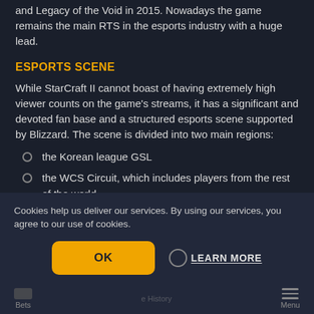and Legacy of the Void in 2015. Nowadays the game remains the main RTS in the esports industry with a huge lead.
ESPORTS SCENE
While StarCraft II cannot boast of having extremely high viewer counts on the game's streams, it has a significant and devoted fan base and a structured esports scene supported by Blizzard. The scene is divided into two main regions:
the Korean league GSL
the WCS Circuit, which includes players from the rest of the world
Despite a popular belief, the scene is no longer dominated by South Korean players – for example, the 2018 World Championship was won by a Finish player, as multiple other international events. Thanks to support from developers and crowdfunding from the community, the competetive StarCraft II scene is thriving, and there are plenty of
Cookies help us deliver our services. By using our services, you agree to our use of cookies.
OK
LEARN MORE